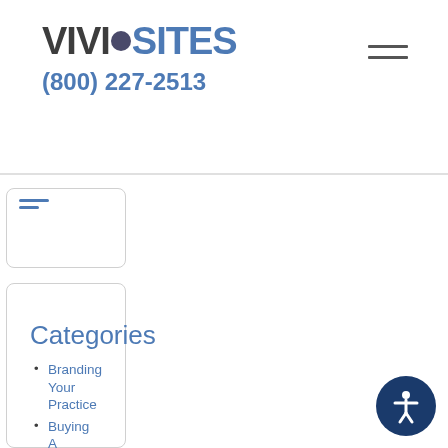[Figure (logo): VivioSites logo with circular dot between VIVIO and SITES, followed by phone number (800) 227-2513]
Categories
Branding Your Practice
Buying A New Practice
Dental Lab Websites
Dental Website